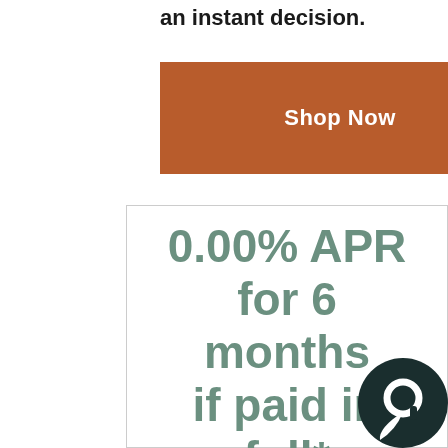an instant decision.
[Figure (other): Shop Now button — brown/rust colored rectangular button with white bold text 'Shop Now']
0.00% APR for 6 months if paid in full*
*Interest will be charged to your account from the transaction posting date at 19.99% APR if the purchase balance is not paid in full by the end of the 6 month promo period. Minimum monthly payment required. Additional payments may be required to pay off purchase before